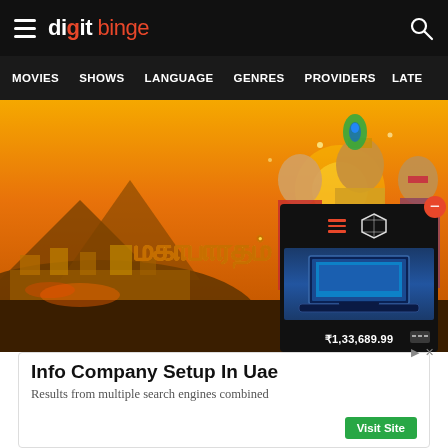digit binge
MOVIES  SHOWS  LANGUAGE  GENRES  PROVIDERS  LATE
[Figure (photo): Mahabharatam Tamil TV show promotional banner with three characters in traditional costumes against a golden sunset background with Tamil title text மகாபாரதம்]
[Figure (screenshot): Advertisement overlay box showing a laptop product with price ₹1,33,689.99 and a cube icon with red close button]
Info Company Setup In Uae
Results from multiple search engines combined